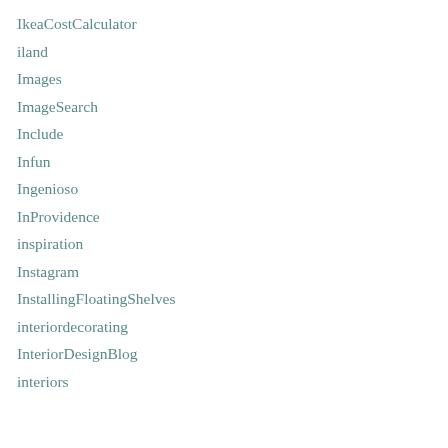IkeaCostCalculator
iland
Images
ImageSearch
Include
Infun
Ingenioso
InProvidence
inspiration
Instagram
InstallingFloatingShelves
interiordecorating
InteriorDesignBlog
interiors